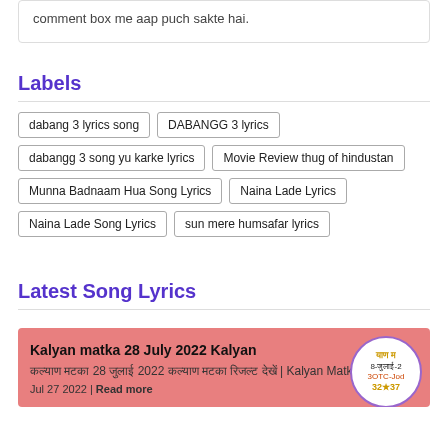comment box me aap puch sakte hai.
Labels
dabang 3 lyrics song
DABANGG 3 lyrics
dabangg 3 song yu karke lyrics
Movie Review thug of hindustan
Munna Badnaam Hua Song Lyrics
Naina Lade Lyrics
Naina Lade Song Lyrics
sun mere humsafar lyrics
Latest Song Lyrics
Kalyan matka 28 July 2022 Kalyan
कल्याण मटका 28 जुलाई 2022 कल्याण मटका रिजल्ट देखें | Kalyan Matka...
Jul 27 2022 | Read more